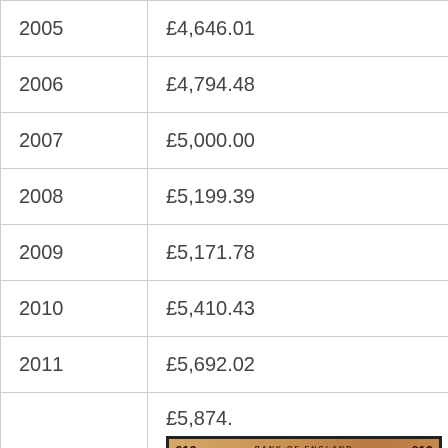| Year | Value | Return |
| --- | --- | --- |
| 2005 | £4,646.01 | 2.82% |
| 2006 | £4,794.48 | 3.20% |
| 2007 | £5,000.00 | 4.29% |
| 2008 | £5,199.39 | 3.99% |
| 2009 | £5,171.78 | -0.53% |
| 2010 | £5,410.43 | 4.61% |
| 2011 | £5,692.02 | 5.20% |
| 2012 | £5,874. | 3.21% |